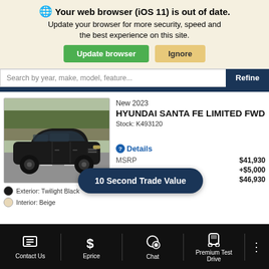🌐 Your web browser (iOS 11) is out of date. Update your browser for more security, speed and the best experience on this site. [Update browser] [Ignore]
Search by year, make, model, feature...
New 2023
HYUNDAI SANTA FE LIMITED FWD
Stock: K493120
[Figure (photo): Dark black Hyundai Santa Fe SUV on a road with trees in background]
Exterior: Twilight Black
Interior: Beige
❷Details
MSRP  $41,930
  +$5,000
Sticker/Selling Price  $46,930
10 Second Trade Value
Contact Us | Eprice | Chat | Premium Test Drive | ⋮